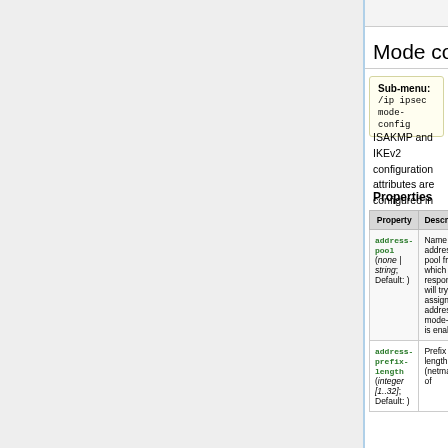Mode configs
Sub-menu: /ip ipsec mode-config
ISAKMP and IKEv2 configuration attributes are configured in this menu.
Properties
| Property | Description |
| --- | --- |
| address-pool (none | string; Default: ) | Name of the address pool from which responder will try to assign address if mode-config is enabled. |
| address-prefix-length (integer [1..32]; Default: ) | Prefix length (netmask) of |